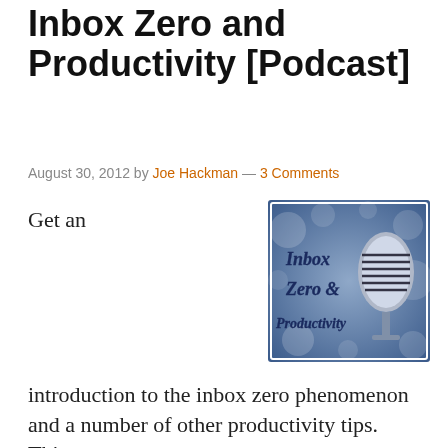Inbox Zero and Productivity [Podcast]
August 30, 2012 by Joe Hackman — 3 Comments
Get an
[Figure (illustration): Podcast artwork showing a vintage microphone on a blue bokeh background with cursive text reading 'Inbox Zero & Productivity']
introduction to the inbox zero phenomenon and a number of other productivity tips. This